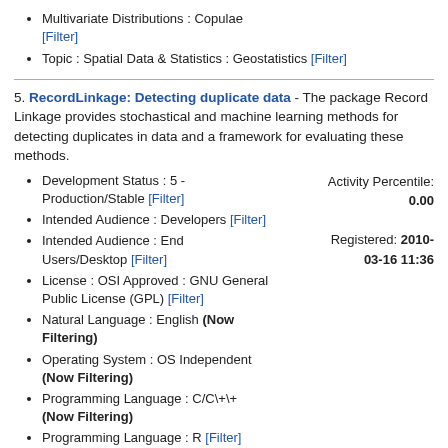Multivariate Distributions : Copulae [Filter]
Topic : Spatial Data & Statistics : Geostatistics [Filter]
5. RecordLinkage: Detecting duplicate data - The package Record Linkage provides stochastical and machine learning methods for detecting duplicates in data and a framework for evaluating these methods.
Development Status : 5 - Production/Stable [Filter]
Intended Audience : Developers [Filter]
Intended Audience : End Users/Desktop [Filter]
License : OSI Approved : GNU General Public License (GPL) [Filter]
Natural Language : English (Now Filtering)
Operating System : OS Independent (Now Filtering)
Programming Language : C/C\+\+ (Now Filtering)
Programming Language : R [Filter]
Topic : Biostatistics & Medical Statistics [Filter]
Topic : Machine Learning [Filter]
Activity Percentile: 0.00
Registered: 2010-03-16 11:36